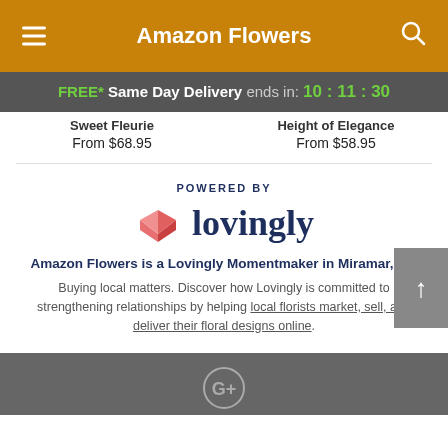Amazon Flowers
FREE* Same Day Delivery ends in: 10:11:30
Sweet Fleurie From $68.95
Height of Elegance From $58.95
[Figure (logo): Lovingly logo with heart icon and text 'lovingly' below POWERED BY label]
Amazon Flowers is a Lovingly Momentmaker in Miramar, FL.
Buying local matters. Discover how Lovingly is committed to strengthening relationships by helping local florists market, sell, and deliver their floral designs online.
[Figure (logo): Google Plus (G+) icon in footer]